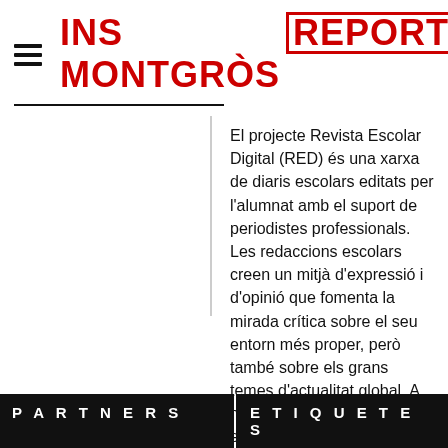INS MONTGRÒS REPORT
El projecte Revista Escolar Digital (RED) és una xarxa de diaris escolars editats per l'alumnat amb el suport de periodistes professionals. Les redaccions escolars creen un mitjà d'expressió i d'opinió que fomenta la mirada crítica sobre el seu entorn més proper, però també sobre els grans temes d'actualitat global. A més, els millors continguts es publiquen a la revista col·laborativa RED Report.
PARTNERS
ETIQUETES